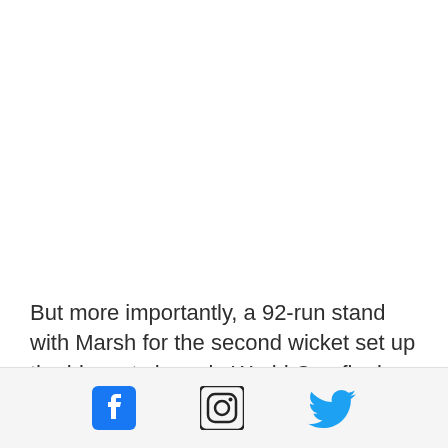But more importantly, a 92-run stand with Marsh for the second wicket set up the biggest chase in World Cup final history and ended a 14-year hunt for the T20 title.
[Figure (infographic): Social media sharing bar with Facebook, Instagram, and Twitter icons]